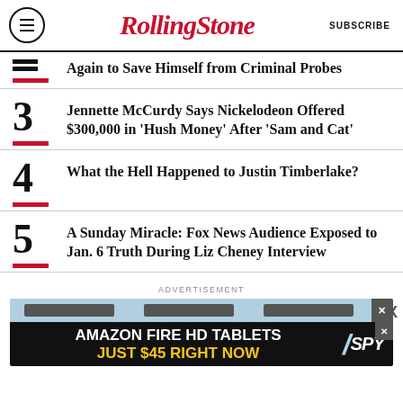Rolling Stone | SUBSCRIBE
Again to Save Himself from Criminal Probes
3 Jennette McCurdy Says Nickelodeon Offered $300,000 in 'Hush Money' After 'Sam and Cat'
4 What the Hell Happened to Justin Timberlake?
5 A Sunday Miracle: Fox News Audience Exposed to Jan. 6 Truth During Liz Cheney Interview
[Figure (other): Advertisement banner for Amazon Fire HD Tablets - Just $45 Right Now, with SPY logo]